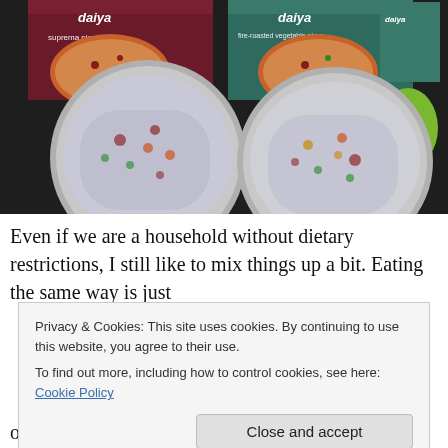[Figure (photo): Photo of two frozen Daiya brand pizzas (supreme pizza and fire-roasted vegetable pizza) out of their boxes and wrapped in plastic, placed on plates on a dark countertop. The boxes are visible behind the pizzas, and a green Daiya branded item is on the right.]
Even if we are a household without dietary restrictions, I still like to mix things up a bit. Eating the same way is just
Privacy & Cookies: This site uses cookies. By continuing to use this website, you agree to their use.
To find out more, including how to control cookies, see here: Cookie Policy
one, we rarely eat frozen prepared meals and/or side